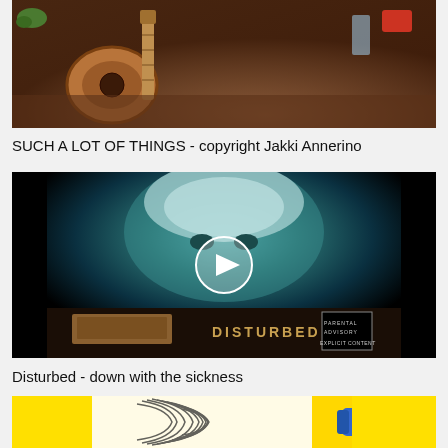[Figure (photo): Video thumbnail showing an acoustic guitar on a table in a room setting, warm tones]
SUCH A LOT OF THINGS - copyright Jakki Annerino
[Figure (photo): Video thumbnail for Disturbed - Down with the Sickness album art, showing a face with teal/dark tones and a play button overlay. Bottom shows Disturbed album cover text.]
Disturbed - down with the sickness
[Figure (photo): Partial thumbnail showing yellow background with fingerprint artwork and blue marker/pen]